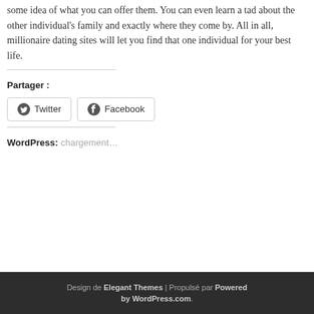some idea of what you can offer them. You can even learn a tad about the other individual’s family and exactly where they come by. All in all, millionaire dating sites will let you find that one individual for your best life.
Partager :
[Figure (other): Twitter social share button with bird icon]
[Figure (other): Facebook social share button with f icon]
WordPress:
chargement…
Design de Elegant Themes | Propulsé par Powered by WordPress.com.